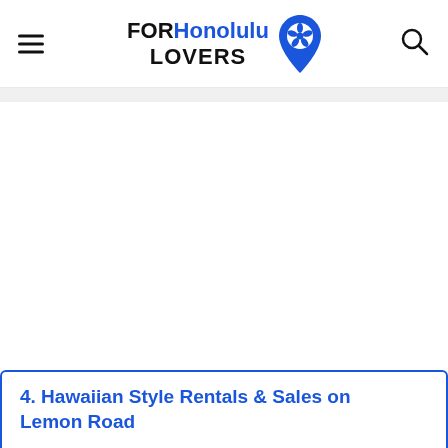FOR Honolulu LOVERS
4. Hawaiian Style Rentals & Sales on Lemon Road